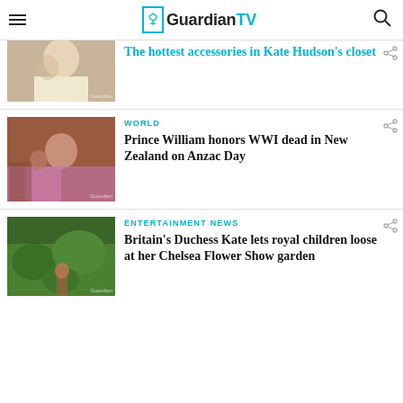GuardianTV
The hottest accessories in Kate Hudson's closet
WORLD
Prince William honors WWI dead in New Zealand on Anzac Day
ENTERTAINMENT NEWS
Britain's Duchess Kate lets royal children loose at her Chelsea Flower Show garden